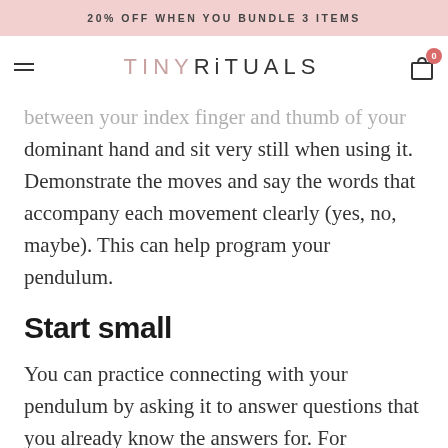20% OFF WHEN YOU BUNDLE 3 ITEMS
TINY RITUALS
between your index finger and thumb of your dominant hand and sit very still when using it. Demonstrate the moves and say the words that accompany each movement clearly (yes, no, maybe). This can help program your pendulum.
Start small
You can practice connecting with your pendulum by asking it to answer questions that you already know the answers for. For example, you can ask ' is my dog